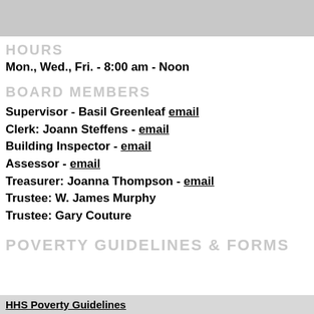[Figure (other): Gray decorative header bar]
HOURS
Mon., Wed., Fri. - 8:00 am - Noon
BOARD MEMBERS
Supervisor - Basil Greenleaf email
Clerk: Joann Steffens - email
Building Inspector - email
Assessor - email
Treasurer: Joanna Thompson - email
Trustee: W. James Murphy
Trustee: Gary Couture
POVERTY GUIDELINES & FORMS
HHS Poverty Guidelines